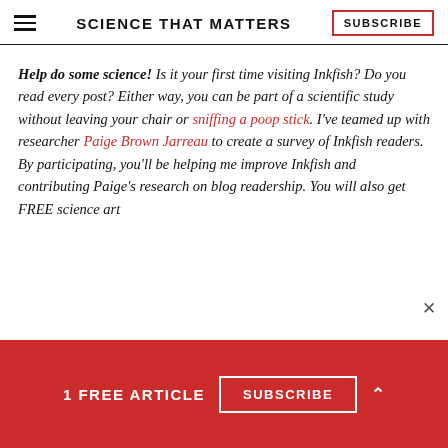SCIENCE THAT MATTERS | SUBSCRIBE
Help do some science! Is it your first time visiting Inkfish? Do you read every post? Either way, you can be part of a scientific study without leaving your chair or sniffing a poop stick. I've teamed up with researcher Paige Brown Jarreau to create a survey of Inkfish readers. By participating, you'll be helping me improve Inkfish and contributing Paige's research on blog readership. You will also get FREE science art
1 FREE ARTICLE  SUBSCRIBE